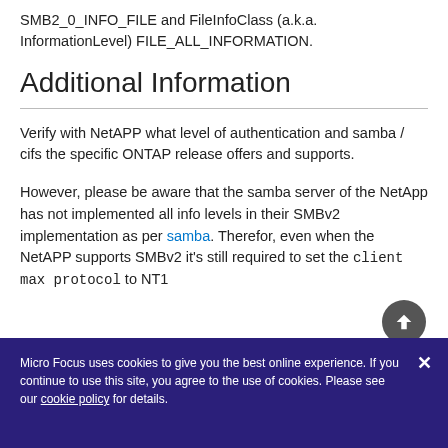SMB2_0_INFO_FILE and FileInfoClass (a.k.a. InformationLevel) FILE_ALL_INFORMATION.
Additional Information
Verify with NetAPP what level of authentication and samba / cifs the specific ONTAP release offers and supports.
However, please be aware that the samba server of the NetApp has not implemented all info levels in their SMBv2 implementation as per samba. Therefor, even when the NetAPP supports SMBv2 it's still required to set the client max protocol to NT1
Micro Focus uses cookies to give you the best online experience. If you continue to use this site, you agree to the use of cookies. Please see our cookie policy for details.